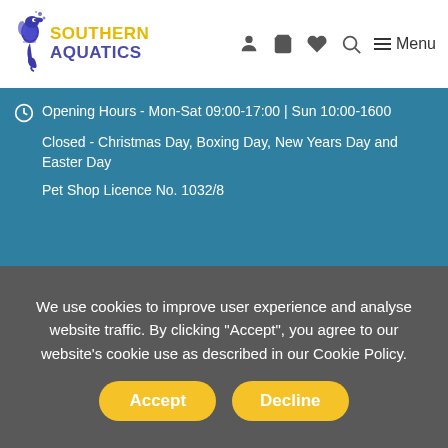[Figure (logo): Southern Aquatics logo with seahorse graphic and text]
Opening Hours - Mon-Sat 09:00-17:00 | Sun 10:00-1600
Closed - Christmas Day, Boxing Day, New Years Day and Easter Day
Pet Shop Licence No. 1032/8
We use cookies to improve user experience and analyse website traffic. By clicking "Accept", you agree to our website's cookie use as described in our Cookie Policy.